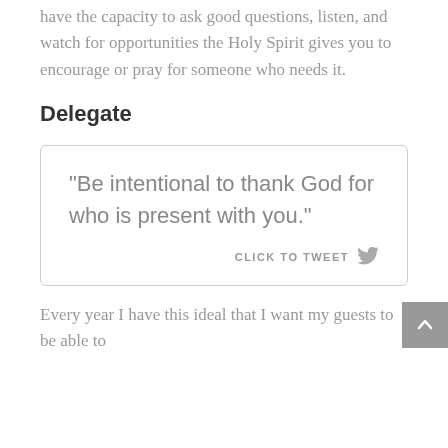have the capacity to ask good questions, listen, and watch for opportunities the Holy Spirit gives you to encourage or pray for someone who needs it.
Delegate
[Figure (other): Quote box with text: “Be intentional to thank God for who is present with you.” and a CLICK TO TWEET link with Twitter bird icon]
Every year I have this ideal that I want my guests to be able to